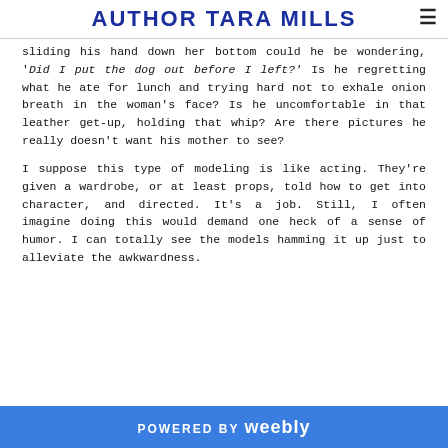AUTHOR TARA MILLS
sliding his hand down her bottom could he be wondering, 'Did I put the dog out before I left?' Is he regretting what he ate for lunch and trying hard not to exhale onion breath in the woman's face? Is he uncomfortable in that leather get-up, holding that whip? Are there pictures he really doesn't want his mother to see?
I suppose this type of modeling is like acting. They're given a wardrobe, or at least props, told how to get into character, and directed. It's a job. Still, I often imagine doing this would demand one heck of a sense of humor. I can totally see the models hamming it up just to alleviate the awkwardness.
POWERED BY Weebly